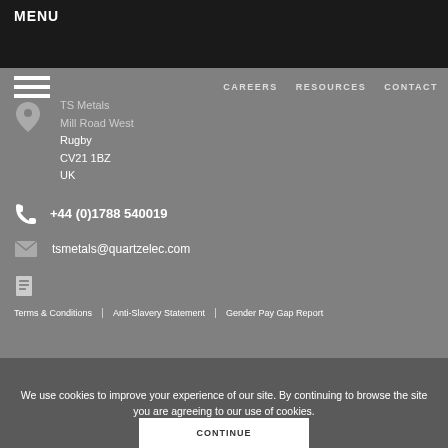MENU
TS Metals
Mill Road West
Rugby
CV21 1BZ
UK
CAREERS   RESOURCES   CONTACT
+44 (0)1788 540019
tsmetals@quartzelec.com
Terms & Conditions   Anti-Slavery Statement   Gender Pay Gap Report
We use cookies to improve your experience of our site. By continuing to browse the site you are agreeing to our use of cookies.
CONTINUE